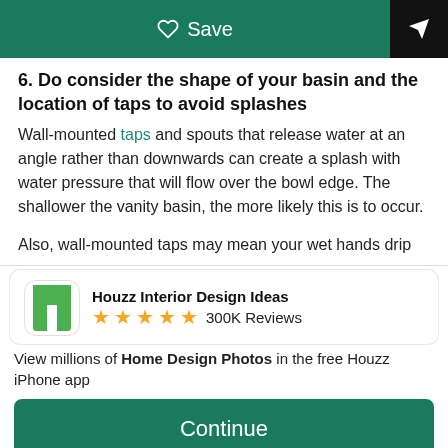Save | Share
6. Do consider the shape of your basin and the location of taps to avoid splashes
Wall-mounted taps and spouts that release water at an angle rather than downwards can create a splash with water pressure that will flow over the bowl edge. The shallower the vanity basin, the more likely this is to occur.

Also, wall-mounted taps may mean your wet hands drip
[Figure (logo): Houzz app banner with green app icon, 5 gold stars, and 300K Reviews text]
Houzz Interior Design Ideas ★★★★★ 300K Reviews
View millions of Home Design Photos in the free Houzz iPhone app
Continue
Go to Mobile Site